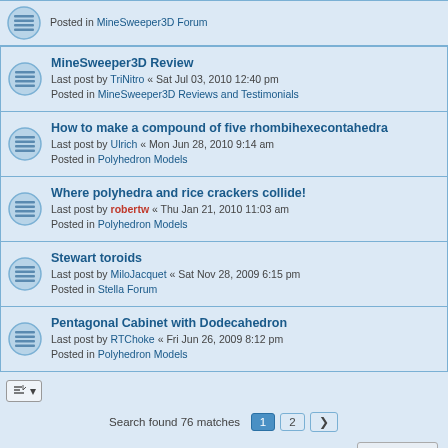Posted in MineSweeper3D Forum
MineSweeper3D Review — Last post by TriNitro « Sat Jul 03, 2010 12:40 pm — Posted in MineSweeper3D Reviews and Testimonials
How to make a compound of five rhombihexecontahedra — Last post by Ulrich « Mon Jun 28, 2010 9:14 am — Posted in Polyhedron Models
Where polyhedra and rice crackers collide! — Last post by robertw « Thu Jan 21, 2010 11:03 am — Posted in Polyhedron Models
Stewart toroids — Last post by MiloJacquet « Sat Nov 28, 2009 6:15 pm — Posted in Stella Forum
Pentagonal Cabinet with Dodecahedron — Last post by RTChoke « Fri Jun 26, 2009 8:12 pm — Posted in Polyhedron Models
Search found 76 matches · 1 2 >
Jump to
Board index   The team   Delete all board cookies   All times are UTC
Powered by phpBB® Forum Software © phpBB Limited